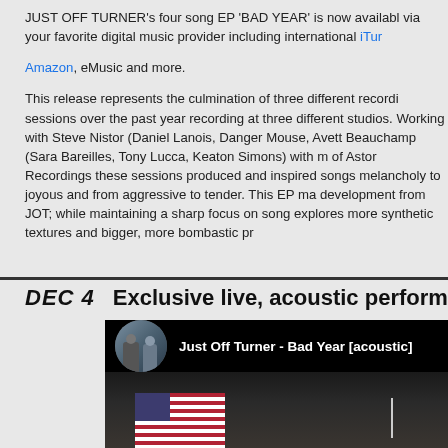JUST OFF TURNER's four song EP 'BAD YEAR' is now available via your favorite digital music provider including international iTunes, Amazon, eMusic and more.

This release represents the culmination of three different recording sessions over the past year recording at three different studios. Working with Steve Nistor (Daniel Lanois, Danger Mouse, Avett Brothers), Beauchamp (Sara Bareilles, Tony Lucca, Keaton Simons) with management of Astor Recordings these sessions produced and inspired songs ranging from melancholy to joyous and from aggressive to tender. This EP marks a development from JOT; while maintaining a sharp focus on songwriting, it explores more synthetic textures and bigger, more bombastic production.
DEC 4   Exclusive live, acoustic performance
[Figure (screenshot): YouTube video thumbnail showing 'Just Off Turner - Bad Year [acoustic]' with a circular profile image of two people on black background, and below a performance scene with American flag and performer with microphone.]